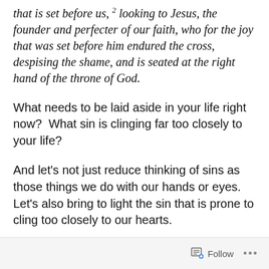that is set before us, 2 looking to Jesus, the founder and perfecter of our faith, who for the joy that was set before him endured the cross, despising the shame, and is seated at the right hand of the throne of God.
What needs to be laid aside in your life right now?  What sin is clinging far too closely to your life?
And let's not just reduce thinking of sins as those things we do with our hands or eyes. Let's also bring to light the sin that is prone to cling too closely to our hearts.
Follow ···